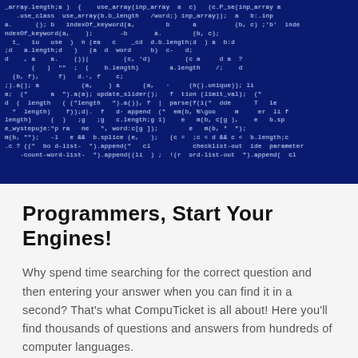[Figure (photo): Dark blue background filled with lines of white/light-colored programming code, resembling a code editor or terminal screen with JavaScript/array-related syntax visible.]
Programmers, Start Your Engines!
Why spend time searching for the correct question and then entering your answer when you can find it in a second? That's what CompuTicket is all about! Here you'll find thousands of questions and answers from hundreds of computer languages.